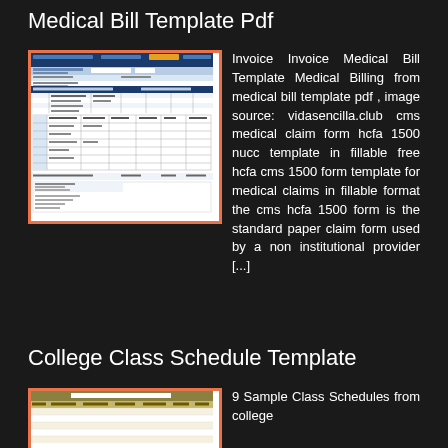Medical Bill Template Pdf
[Figure (screenshot): Screenshot of a medical billing form / CMS HCFA 1500 claim form template]
Invoice Invoice Medical Bill Template Medical Billing from medical bill template pdf , image source: vidasencilla.club cms medical claim form hcfa 1500 nucc template in fillable free hcfa cms 1500 form template for medical claims in fillable format the cms hcfa 1500 form is the standard paper claim form used by a non institutional provider [...]
College Class Schedule Template
[Figure (screenshot): Screenshot of a college class schedule template]
9 Sample Class Schedules from college